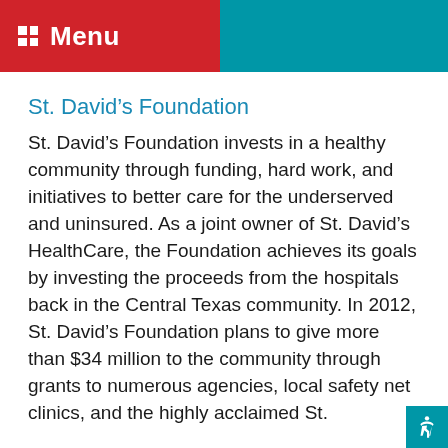Menu
St. David’s Foundation
St. David’s Foundation invests in a healthy community through funding, hard work, and initiatives to better care for the underserved and uninsured. As a joint owner of St. David’s HealthCare, the Foundation achieves its goals by investing the proceeds from the hospitals back in the Central Texas community. In 2012, St. David’s Foundation plans to give more than $34 million to the community through grants to numerous agencies, local safety net clinics, and the highly acclaimed St.